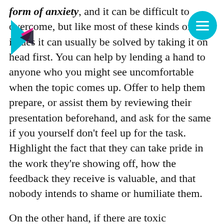form of anxiety, and it can be difficult to overcome, but like most of these kinds of issues it can usually be solved by taking it on head first. You can help by lending a hand to anyone who you might see uncomfortable when the topic comes up. Offer to help them prepare, or assist them by reviewing their presentation beforehand, and ask for the same if you yourself don't feel up for the task. Highlight the fact that they can take pride in the work they're showing off, how the feedback they receive is valuable, and that nobody intends to shame or humiliate them.

On the other hand, if there are toxic participants in the demos, it's a real priority to address them and make sure they understand that they're harming both the process and the team, therefore also harming the product with their